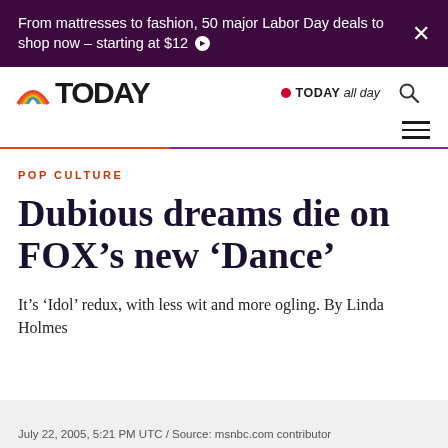From mattresses to fashion, 50 major Labor Day deals to shop now – starting at $12
[Figure (logo): TODAY show logo with rainbow icon and TODAY all day branding]
POP CULTURE
Dubious dreams die on FOX's new 'Dance'
It's 'Idol' redux, with less wit and more ogling. By Linda Holmes
July 22, 2005, 5:21 PM UTC / Source: msnbc.com contributor